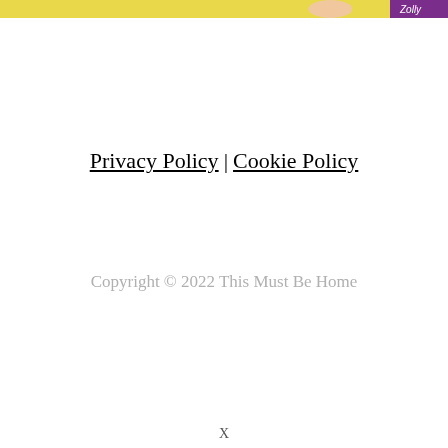[Figure (photo): Partial product image at top of page showing yellow and purple packaging with text 'Zolly' visible]
Privacy Policy | Cookie Policy
Copyright © 2022 This Must Be Home
X